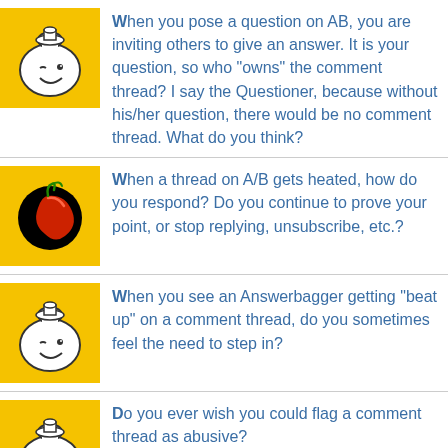When you pose a question on AB, you are inviting others to give an answer. It is your question, so who "owns" the comment thread? I say the Questioner, because without his/her question, there would be no comment thread. What do you think?
When a thread on A/B gets heated, how do you respond? Do you continue to prove your point, or stop replying, unsubscribe, etc.?
When you see an Answerbagger getting "beat up" on a comment thread, do you sometimes feel the need to step in?
Do you ever wish you could flag a comment thread as abusive? http://www.answerbag.com/a_view/2667043